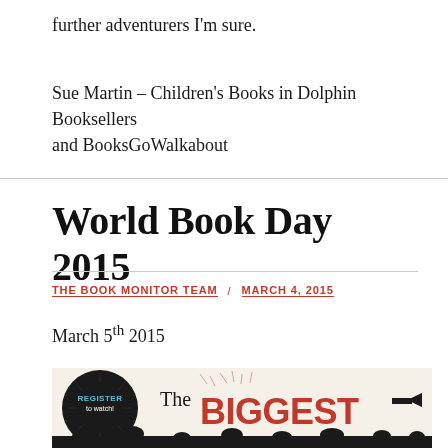further adventurers I'm sure.
Sue Martin – Children's Books in Dolphin Booksellers and BooksGoWalkabout
World Book Day 2015
THE BOOK MONITOR TEAM  /  MARCH 4, 2015
March 5th 2015
[Figure (illustration): World Book Day 2015 banner image showing 'The BIGGEST' text in large red letters with a 'REGISTER to watch!' badge on the left and decorative starburst elements]